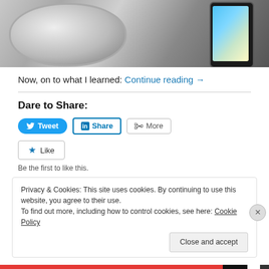[Figure (photo): Photo of a car cup holder with a phone placed in it, showing a navigation app on the phone screen. Chrome/silver cup holder insert visible.]
Now, on to what I learned: Continue reading →
Dare to Share:
Tweet  Share  More (social sharing buttons)
★ Like
Be the first to like this.
Privacy & Cookies: This site uses cookies. By continuing to use this website, you agree to their use.
To find out more, including how to control cookies, see here: Cookie Policy
Close and accept